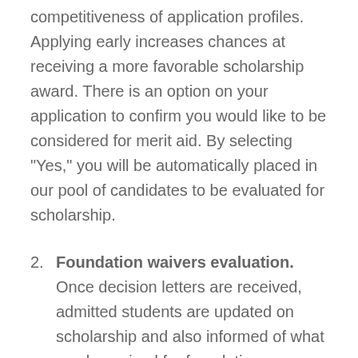competitiveness of application profiles. Applying early increases chances at receiving a more favorable scholarship award. There is an option on your application to confirm you would like to be considered for merit aid. By selecting "Yes," you will be automatically placed in our pool of candidates to be evaluated for scholarship.
2. Foundation waivers evaluation. Once decision letters are received, admitted students are updated on scholarship and also informed of what can be waived for foundation courses if required for their program of choice. Incoming students that submit their enrollment deposit to hold their seat are prompted soon after to set up their Bentley email and student account. By taking